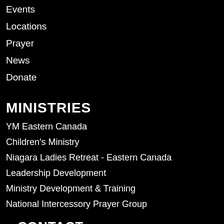Events
Locations
Prayer
News
Donate
MINISTRIES
YM Eastern Canada
Children's Ministry
Niagara Ladies Retreat - Eastern Canada
Leadership Development
Ministry Development & Training
National Intercessory Prayer Group
CONTACT